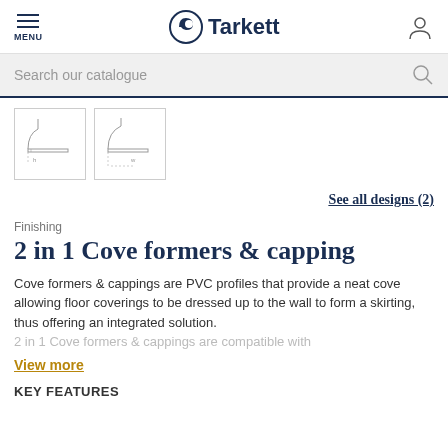MENU | Tarkett
Search our catalogue
[Figure (photo): Two product thumbnail diagrams showing cove former cross-section profiles]
See all designs (2)
Finishing
2 in 1 Cove formers & capping
Cove formers & cappings are PVC profiles that provide a neat cove allowing floor coverings to be dressed up to the wall to form a skirting, thus offering an integrated solution. 2 in 1 Cove formers & cappings are compatible with
View more
KEY FEATURES